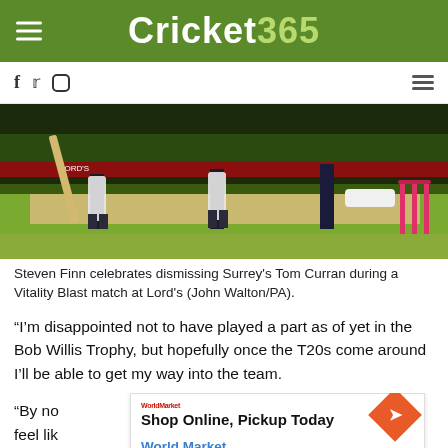Cricket 365
[Figure (photo): Cricket players on a pitch — Steven Finn celebrates dismissing Surrey's Tom Curran during a Vitality Blast match at Lord's. Pink stumps visible on right, batsmen with pads in view.]
Steven Finn celebrates dismissing Surrey's Tom Curran during a Vitality Blast match at Lord's (John Walton/PA).
“I’m disappointed not to have played a part as of yet in the Bob Willis Trophy, but hopefully once the T20s come around I’ll be able to get my way into the team.
“By no ... cket, I feel lik... but certain... ball